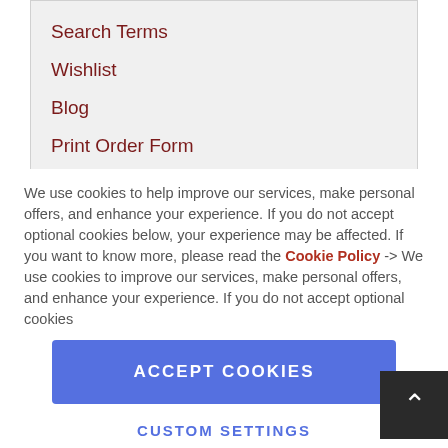Search Terms
Wishlist
Blog
Print Order Form
We use cookies to help improve our services, make personal offers, and enhance your experience. If you do not accept optional cookies below, your experience may be affected. If you want to know more, please read the Cookie Policy -> We use cookies to improve our services, make personal offers, and enhance your experience. If you do not accept optional cookies
ACCEPT COOKIES
CUSTOM SETTINGS